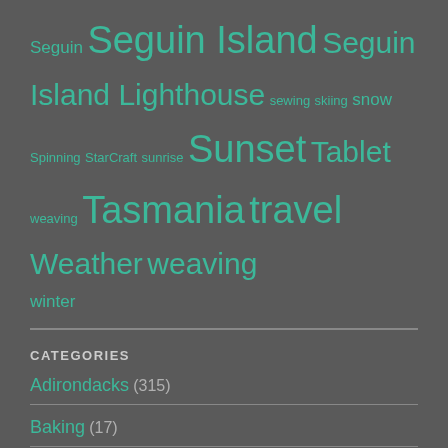Seguin Seguin Island Seguin Island Lighthouse sewing skiing snow Spinning StarCraft sunrise Sunset Tablet weaving Tasmania travel Weather weaving winter
CATEGORIES
Adirondacks (315)
Baking (17)
Boring (1)
caretaking (26)